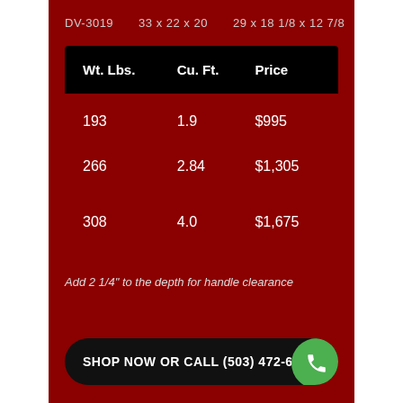DV-3019   33 x 22 x 20   29 x 18 1/8 x 12 7/8
| Wt. Lbs. | Cu. Ft. | Price |
| --- | --- | --- |
| 193 | 1.9 | $995 |
| 266 | 2.84 | $1,305 |
| 308 | 4.0 | $1,675 |
Add 2 1/4" to the depth for handle clearance
SHOP NOW OR CALL (503) 472-64